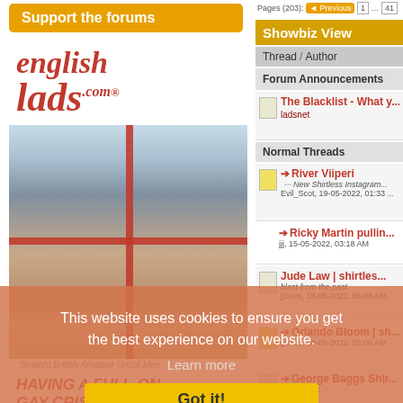[Figure (screenshot): Website screenshot showing a forum page with English Lads advertisement on the left and Showbiz View forum thread list on the right, overlaid with a cookie consent banner.]
Support the forums
[Figure (photo): EnglishLads.com advertisement with logo and photo of a young man on a bed]
Straight British Amateur Uncut Men
HAVING A FULL-ON GAY CRISIS ?
Showbiz View
| Thread | Author |
| --- | --- |
| Forum Announcements |  |
| The Blacklist - What y... | ladsnet |
| Normal Threads |  |
| River Viiperi
New Shirtless Instagram...
Evil_Scot, 19-05-2022, 01:33 ... |  |
| Ricky Martin pullin...
jjj, 15-05-2022, 03:18 AM |  |
| Jude Law | shirtles...
blast from the past
jjones, 18-05-2022, 05:08 AM |  |
| Orlando Bloom | sh...
jjones, 18-05-2022, 05:06 AM |  |
| George Baggs Shir...
Googlebox |  |
This website uses cookies to ensure you get the best experience on our website.
Learn more
Got it!